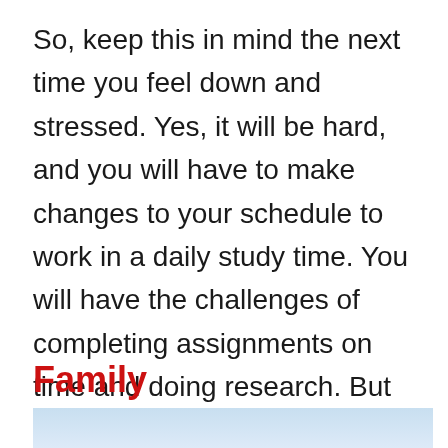So, keep this in mind the next time you feel down and stressed. Yes, it will be hard, and you will have to make changes to your schedule to work in a daily study time. You will have the challenges of completing assignments on time and doing research. But you will learn from everything you do, and things will improve.
Family
[Figure (photo): Light blue sky background photo, partially visible at bottom of page]